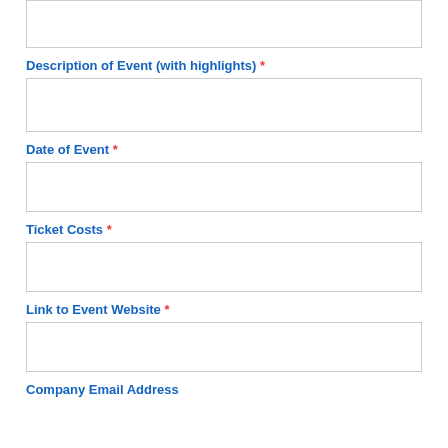[top input box — partial, clipped at top]
Description of Event (with highlights) *
[description input box]
Date of Event *
[date input box]
Ticket Costs *
[ticket costs input box]
Link to Event Website *
[link input box]
Company Email Address